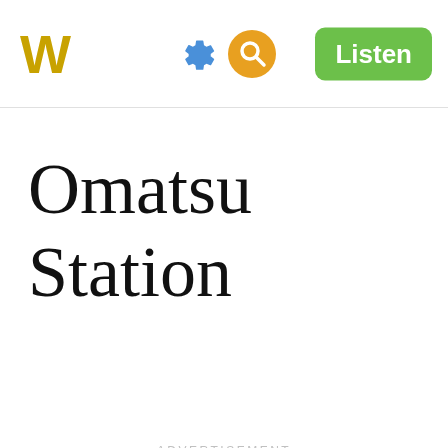W  [gear icon] [search icon]  Listen
Omatsu Station
ADVERTISEMENT